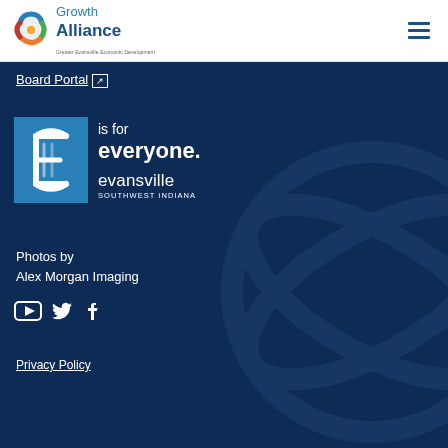[Figure (logo): Growth Alliance Greater Evansville Economic Development logo with circular graphic]
Board Portal ↗
[Figure (logo): Evansville Southwest Indiana 'E is for everyone' logo — white E letter on blue square background]
Photos by
Alex Morgan Imaging
[Figure (logo): Social media icons: YouTube, Twitter, Facebook]
Privacy Policy